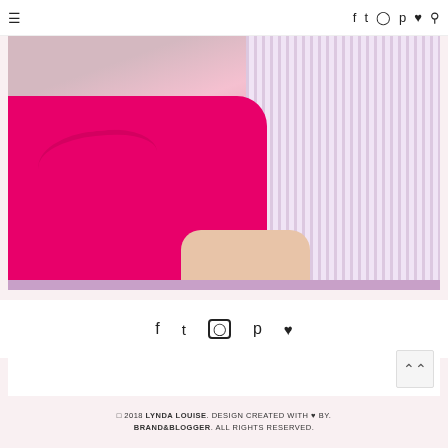≡  f  t  (instagram)  p  ♥  (search)
[Figure (photo): A woman wearing a bright fuchsia/hot pink ruffled collar top with blonde hair, next to a person wearing a lavender/pink striped shirt. Close-up cropped photo showing shoulders and neckline area.]
f  t  (instagram)  p  ♥
© 2018 LYNDA LOUISE. DESIGN CREATED WITH ♥ BY. BRAND&BLOGGER. ALL RIGHTS RESERVED.